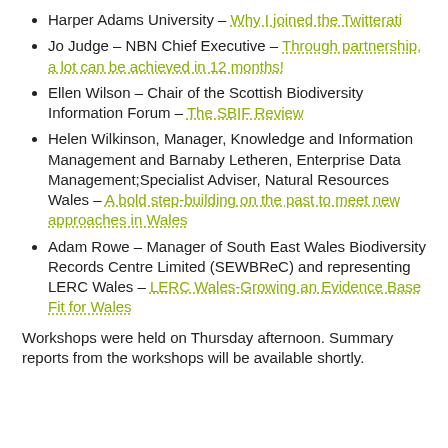Harper Adams University – Why I joined the Twitterati
Jo Judge – NBN Chief Executive – Through partnership, a lot can be achieved in 12 months!
Ellen Wilson – Chair of the Scottish Biodiversity Information Forum – The SBIF Review
Helen Wilkinson, Manager, Knowledge and Information Management and Barnaby Letheren, Enterprise Data Management;Specialist Adviser, Natural Resources Wales – A bold step-building on the past to meet new approaches in Wales
Adam Rowe – Manager of South East Wales Biodiversity Records Centre Limited (SEWBReC) and representing LERC Wales – LERC Wales-Growing an Evidence Base Fit for Wales
Workshops were held on Thursday afternoon. Summary reports from the workshops will be available shortly.